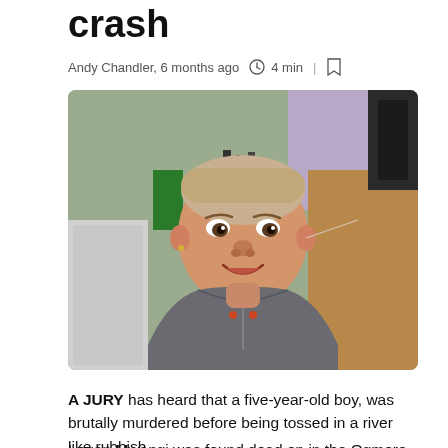crash
Andy Chandler, 6 months ago  4 min
[Figure (photo): Young boy smiling at the camera, wearing a grey hoodie, in what appears to be a kitchen or garage setting]
A JURY has heard that a five-year-old boy, was brutally murdered before being tossed in a river like rubbish.
Logan Mwangi was found dead on in the Ogmore River in